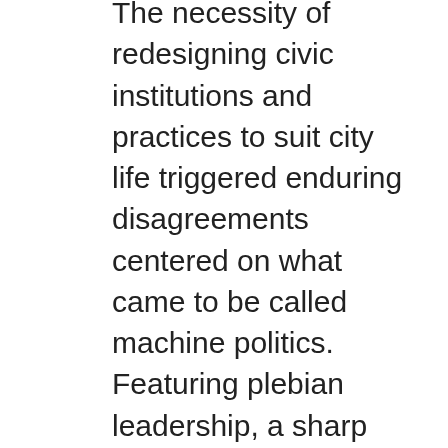The necessity of redesigning civic institutions and practices to suit city life triggered enduring disagreements centered on what came to be called machine politics. Featuring plebian leadership, a sharp masculinity, party discipline, and frank acknowledgment of social differences, this new political formula first arose in eastern cities during the mid-nineteenth century and became a subject of national discussion after the Civil War. During the Gilded Age and Progressive Era, business leaders, workers, and women proposed alternative understandings of how urban democracy might work. Some tried to create venues for deliberation that built common ground among citizens of all classes, faiths, ethnicities, and political persuasions. But accommodating such differences proved difficult, and a vision of politics as the businesslike management of a contentious modern society took precedence. As Connolly makes clear, machine politics offered at best a quasi-democratic way to organize urban public life.